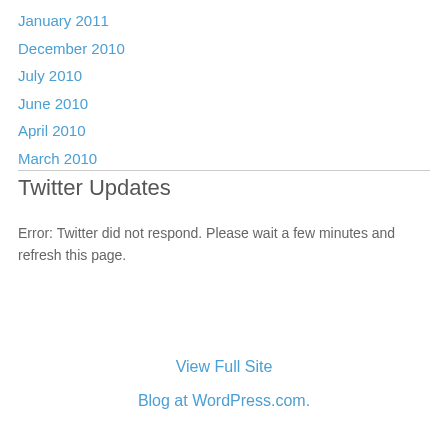January 2011
December 2010
July 2010
June 2010
April 2010
March 2010
Twitter Updates
Error: Twitter did not respond. Please wait a few minutes and refresh this page.
View Full Site
Blog at WordPress.com.